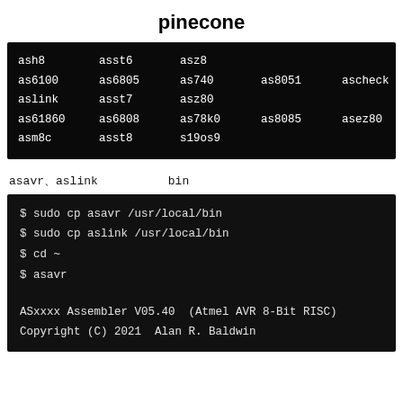pinecone
[Figure (screenshot): Terminal screenshot showing assembler-related filenames in a grid: ash8, asst6, asz8, as6100, as6805, as740, as8051, ascheck, aslink, asst7, asz80, as61860, as6808, as78k0, as8085, asez80, asm8c, asst8, s19os9]
asavr、aslink　　　　　　bin
[Figure (screenshot): Terminal screenshot showing commands: $ sudo cp asavr /usr/local/bin, $ sudo cp aslink /usr/local/bin, $ cd ~, $ asavr, then output: ASxxxx Assembler V05.40  (Atmel AVR 8-Bit RISC), Copyright (C) 2021  Alan R. Baldwin]